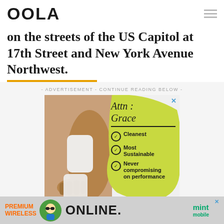OOLA
on the streets of the US Capitol at 17th Street and New York Avenue Northwest.
- ADVERTISEMENT - CONTINUE READING BELOW -
[Figure (illustration): Advertisement for Attn: Grace personal care product. Left half shows a person applying a white pad/patch to their underarm. Right half has a yellow-green background with text: Attn: Grace, Cleanest, Most Sustainable, Never compromising on performance. Each point has a checkmark circle.]
[Figure (illustration): Bottom banner advertisement for Mint Mobile: PREMIUM WIRELESS ONLINE. Features cartoon character with sunglasses and Mint Mobile logo in green.]